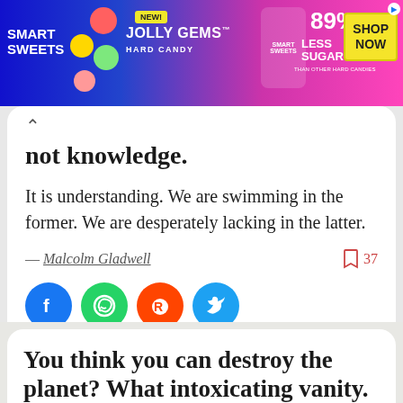[Figure (other): Smart Sweets Jolly Gems Hard Candy advertisement banner. Blue/pink gradient background with candy graphics. '89% LESS SUGAR THAN OTHER HARD CANDIES' text and 'SHOP NOW' yellow button.]
not knowledge.
It is understanding. We are swimming in the former. We are desperately lacking in the latter.
— Malcolm Gladwell
[Figure (infographic): Social sharing buttons: Facebook (blue), WhatsApp (green), Reddit (orange), Twitter (blue)]
You think you can destroy the planet? What intoxicating vanity.
We have considered the case for the dist...